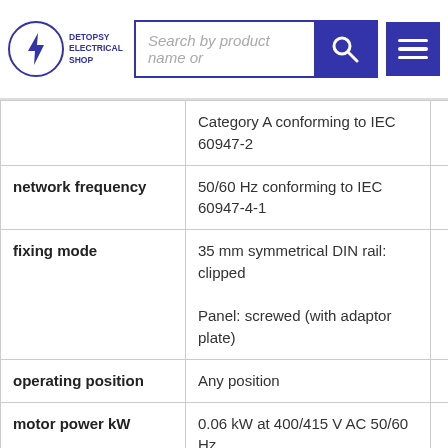[Figure (screenshot): Detopsy Electrical Shop website header with logo, search bar, and menu button]
| Property | Value |
| --- | --- |
|  | Category A conforming to IEC 60947-2 |
| network frequency | 50/60 Hz conforming to IEC 60947-4-1 |
| fixing mode | 35 mm symmetrical DIN rail: clipped
Panel: screwed (with adaptor plate) |
| operating position | Any position |
| motor power kW | 0.06 kW at 400/415 V AC 50/60 Hz |
| breaking capacity | 100 kA Icu at 230/240 V AC |